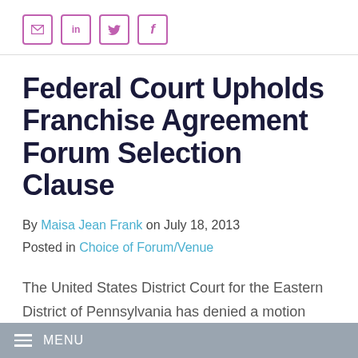Social share icons: email, LinkedIn, Twitter, Facebook
Federal Court Upholds Franchise Agreement Forum Selection Clause
By Maisa Jean Frank on July 18, 2013
Posted in Choice of Forum/Venue
The United States District Court for the Eastern District of Pennsylvania has denied a motion [to transfer filed by a California franchisee...]
MENU